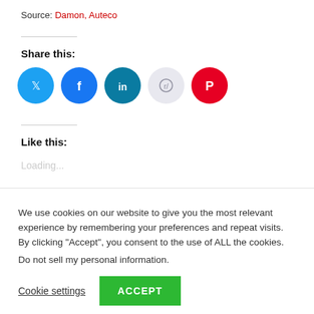Source: Damon, Auteco
Share this:
[Figure (illustration): Row of five social media icon buttons: Twitter (blue), Facebook (blue), LinkedIn (teal), Reddit (light grey), Pinterest (red)]
Like this:
Loading...
We use cookies on our website to give you the most relevant experience by remembering your preferences and repeat visits. By clicking “Accept”, you consent to the use of ALL the cookies.
Do not sell my personal information.
Cookie settings
ACCEPT